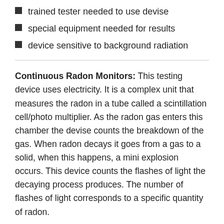trained tester needed to use devise
special equipment needed for results
device sensitive to background radiation
Continuous Radon Monitors: This testing device uses electricity. It is a complex unit that measures the radon in a tube called a scintillation cell/photo multiplier. As the radon gas enters this chamber the devise counts the breakdown of the gas. When radon decays it goes from a gas to a solid, when this happens, a mini explosion occurs. This device counts the flashes of light the decaying process produces. The number of flashes of light corresponds to a specific quantity of radon.
Pros:
very accurate testing